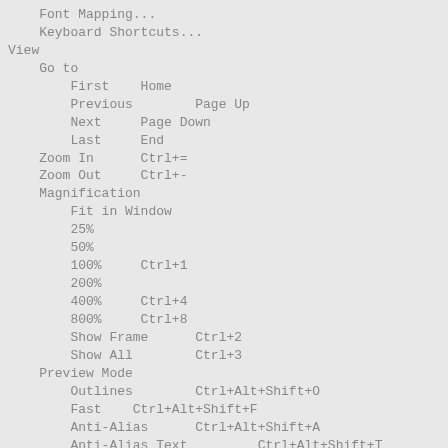Font Mapping...
    Keyboard Shortcuts...
View
    Go to
        First    Home
        Previous        Page Up
        Next     Page Down
        Last     End
    Zoom In      Ctrl+=
    Zoom Out     Ctrl+-
    Magnification
        Fit in Window
        25%
        50%
        100%     Ctrl+1
        200%
        400%     Ctrl+4
        800%     Ctrl+8
        Show Frame      Ctrl+2
        Show All        Ctrl+3
    Preview Mode
        Outlines        Ctrl+Alt+Shift+O
        Fast    Ctrl+Alt+Shift+F
        Anti-Alias      Ctrl+Alt+Shift+A
        Anti-Alias Text         Ctrl+Alt+Shift+T
        Full
    Pasteboard  Ctrl+Shift+W
    Rulers      Ctrl+Alt+Shift+R
    Grid
        Show Grid       Ctrl+'
        Edit Grid...    Ctrl+Alt+G
    Guides